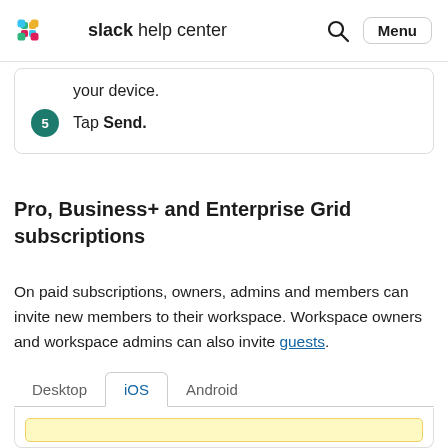slack help center
your device.
5  Tap Send.
Pro, Business+ and Enterprise Grid subscriptions
On paid subscriptions, owners, admins and members can invite new members to their workspace. Workspace owners and workspace admins can also invite guests.
Desktop  iOS  Android